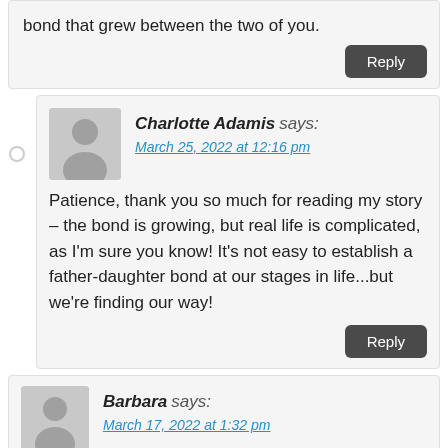bond that grew between the two of you.
Reply
Charlotte Adamis says:
March 25, 2022 at 12:16 pm
Patience, thank you so much for reading my story – the bond is growing, but real life is complicated, as I'm sure you know! It's not easy to establish a father-daughter bond at our stages in life...but we're finding our way!
Reply
Barbara says:
March 17, 2022 at 1:32 pm